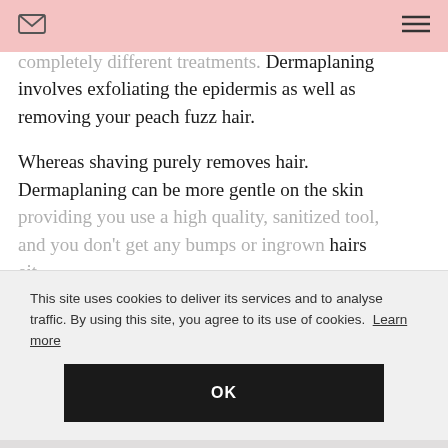[email icon] [hamburger menu icon]
removing unwanted hair, but they completely different treatments. Dermaplaning involves exfoliating the epidermis as well as removing your peach fuzz hair.
Whereas shaving purely removes hair. Dermaplaning can be more gentle on the skin providing you use a high quality, sanitized tool, and you don't get any bumps or ingrown hairs eit...
This site uses cookies to deliver its services and to analyse traffic. By using this site, you agree to its use of cookies. Learn more
OK